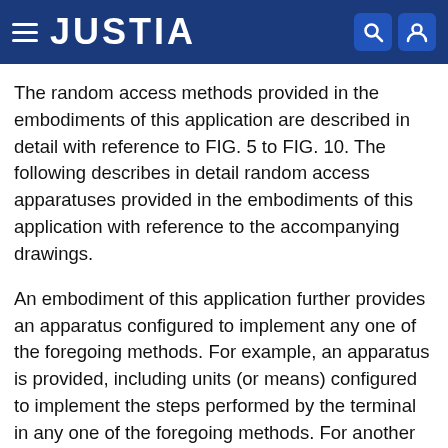JUSTIA
The random access methods provided in the embodiments of this application are described in detail with reference to FIG. 5 to FIG. 10. The following describes in detail random access apparatuses provided in the embodiments of this application with reference to the accompanying drawings.
An embodiment of this application further provides an apparatus configured to implement any one of the foregoing methods. For example, an apparatus is provided, including units (or means) configured to implement the steps performed by the terminal in any one of the foregoing methods. For another example, another apparatus is further provided, including units (or means) configured to implement the steps performed by the network device in any one of the foregoing methods.